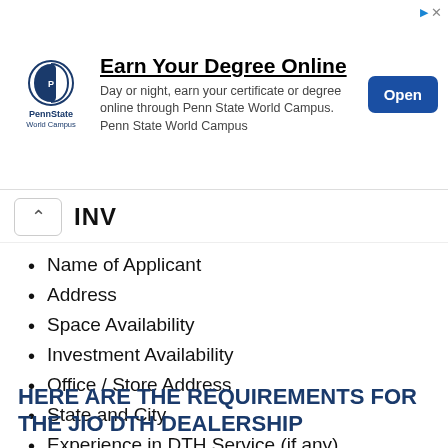[Figure (other): Penn State World Campus advertisement banner with logo, text 'Earn Your Degree Online', body text, and Open button]
INV
Name of Applicant
Address
Space Availability
Investment Availability
Office / Store Address
State and City
Experience in DTH Service (if any)
Expect Sales
HERE ARE THE REQUIREMENTS FOR THE JIO DTH DEALERSHIP